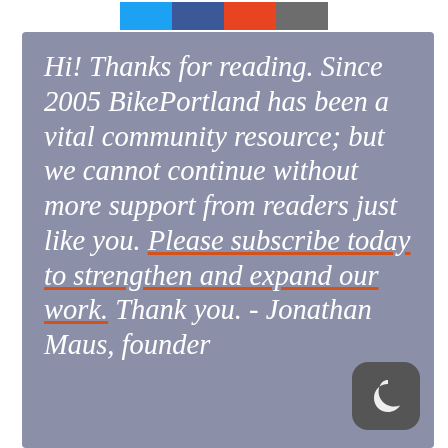[Figure (other): Social share buttons: Twitter (blue), Facebook (dark blue), Reddit (orange-red), Email (gray)]
Hi! Thanks for reading. Since 2005 BikePortland has been a vital community resource; but we cannot continue without more support from readers just like you. Please subscribe today to strengthen and expand our work. Thank you. - Jonathan Maus, founder